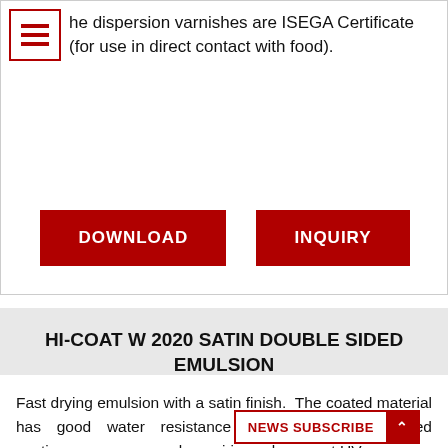The dispersion varnishes are ISEGA Certificate (for use in direct contact with food).
DOWNLOAD
INQUIRY
HI-COAT W 2020 SATIN DOUBLE SIDED EMULSION
Fast drying emulsion with a satin finish. The coated material has good water resistance suited to double sided coating applications. Work requiring subsequent UV va...
NEWS SUBSCRIBE